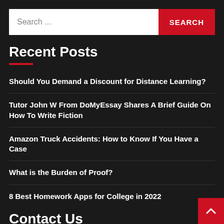[Figure (other): Search bar with white input field showing 'Search ...' placeholder and red SEARCH button]
Recent Posts
Should You Demand a Discount for Distance Learning?
Tutor John W From DoMyEssay Shares A Brief Guide On How To Write Fiction
Amazon Truck Accidents: How to Know If You Have a Case
What is the Burden of Proof?
8 Best Homework Apps for College in 2022
Contact Us
JDocs always focussed on bringing the latest news to its readers. We publish our articles keeping diversity in the language and a regional plurality. Our audience is connected to different industries which includes CMS associates, non-